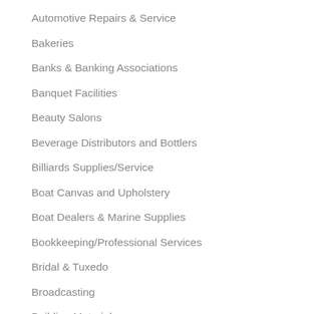Automotive Repairs & Service
Bakeries
Banks & Banking Associations
Banquet Facilities
Beauty Salons
Beverage Distributors and Bottlers
Billiards Supplies/Service
Boat Canvas and Upholstery
Boat Dealers & Marine Supplies
Bookkeeping/Professional Services
Bridal & Tuxedo
Broadcasting
Building Materials
Cabinets
Camping